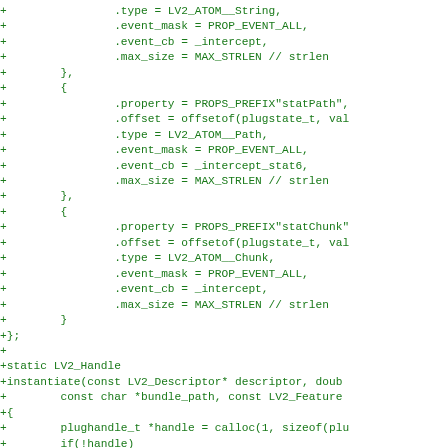[Figure (other): Source code diff showing C code additions (green + lines) including struct property definitions with .type, .event_mask, .event_cb, .max_size fields and a static LV2_Handle instantiate function definition.]